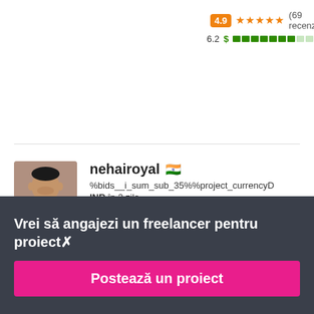4.9 ★★★★★ (69 recenzii)
6.2 $ ████████░░░░
[Figure (photo): Profile photo of nehairoyal - a man in dark clothing]
nehairoyal 🇮🇳
%bids__i_sum_sub_35%%project_currencyD INR în 3 zile
4.9 ★★★★★ (51 recenzii)
6.3 $ ████████░░░░
Vrei să angajezi un freelancer pentru proiect✗
Postează un proiect